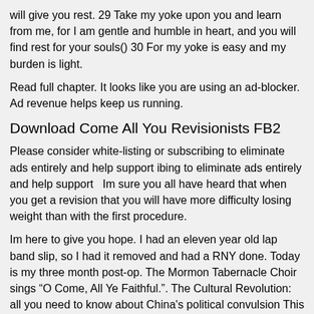will give you rest. 29 Take my yoke upon you and learn from me, for I am gentle and humble in heart, and you will find rest for your souls() 30 For my yoke is easy and my burden is light.
Read full chapter. It looks like you are using an ad-blocker. Ad revenue helps keep us running.
Download Come All You Revisionists FB2
Please consider white-listing or subscribing to eliminate ads entirely and help support ibing to eliminate ads entirely and help support   Im sure you all have heard that when you get a revision that you will have more difficulty losing weight than with the first procedure.
Im here to give you hope. I had an eleven year old lap band slip, so I had it removed and had a RNY done. Today is my three month post-op. The Mormon Tabernacle Choir sings “O Come, All Ye Faithful.”. The Cultural Revolution: all you need to know about China's political convulsion This article is more than 4 years old Fifty years ago one of the bloodiest eras in.
O Come All Ye Faithful with lyrics Christmas carol is beautifully sung by our choir. Sing along with the Xmas song lyrics. Fill your heart and home with the. A tender, moving and joyous